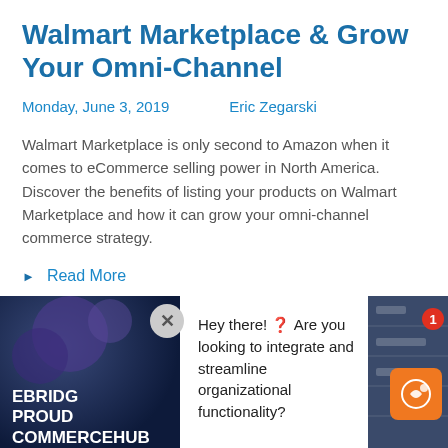Walmart Marketplace & Grow Your Omni-Channel
Monday, June 3, 2019    Eric Zegarski
Walmart Marketplace is only second to Amazon when it comes to eCommerce selling power in North America. Discover the benefits of listing your products on Walmart Marketplace and how it can grow your omni-channel commerce strategy.
Read More
[Figure (screenshot): Bottom section showing an ad/popup with eBridge CommerceHub branding on the left, a chat popup saying 'Hey there! ? Are you looking to integrate and streamline organizational functionality?' in the center, and an orange badge icon with notification dot on the right.]